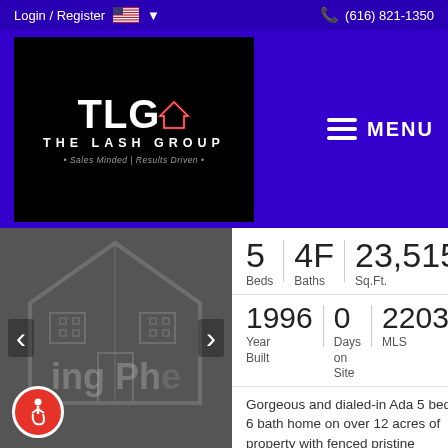Login / Register   (616) 821-1350
[Figure (logo): The Lash Group logo - TLG with house roof icon, text THE LASH GROUP, tagline Sales Minded | Results Driven]
MENU
[Figure (photo): Property listing image showing a house, with left/right navigation arrows and accessibility icon]
5 Beds
4F Baths
23,515 Sq.Ft.
1996 Year Built
0 Days on Site
2203352 MLS
Gorgeous and dialed-in Ada 5 bed 6 bath home on over 12 acres of property with fenced pristine pasture, stables, several watering sources,